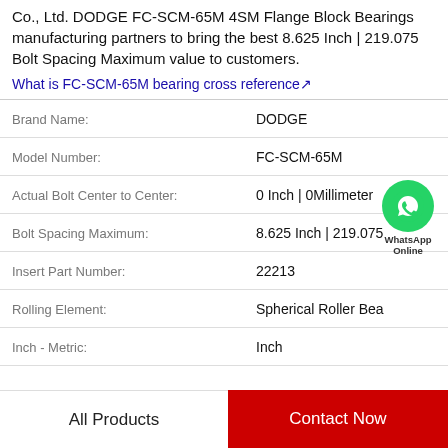Co., Ltd. DODGE FC-SCM-65M 4SM Flange Block Bearings manufacturing partners to bring the best 8.625 Inch | 219.075 Bolt Spacing Maximum value to customers.
What is FC-SCM-65M bearing cross reference↗
| Property | Value |
| --- | --- |
| Brand Name: | DODGE |
| Model Number: | FC-SCM-65M |
| Actual Bolt Center to Center: | 0 Inch | 0Millimeter |
| Bolt Spacing Maximum: | 8.625 Inch | 219.075 |
| Insert Part Number: | 22213 |
| Rolling Element: | Spherical Roller Bea |
| Inch - Metric: | Inch |
[Figure (logo): WhatsApp Online contact bubble with green phone icon]
All Products
Contact Now